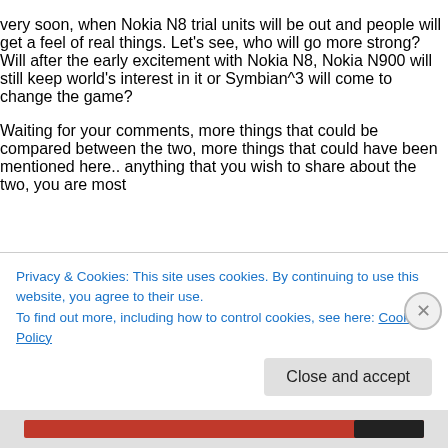very soon, when Nokia N8 trial units will be out and people will get a feel of real things. Let's see, who will go more strong? Will after the early excitement with Nokia N8, Nokia N900 will still keep world's interest in it or Symbian^3 will come to change the game?
Waiting for your comments, more things that could be compared between the two, more things that could have been mentioned here.. anything that you wish to share about the two, you are most
Privacy & Cookies: This site uses cookies. By continuing to use this website, you agree to their use.
To find out more, including how to control cookies, see here: Cookie Policy